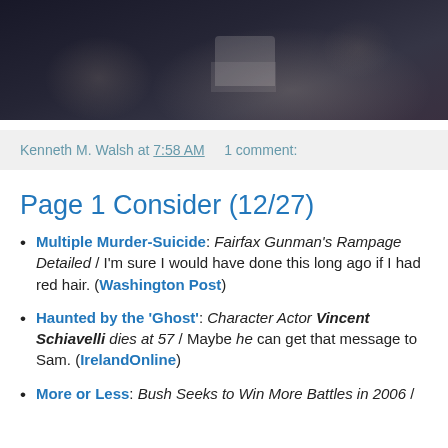[Figure (photo): Dark photograph showing people at a gathering or event, partially visible figures against a dark background]
Kenneth M. Walsh at 7:58 AM    1 comment:
Page 1 Consider (12/27)
Multiple Murder-Suicide: Fairfax Gunman's Rampage Detailed / I'm sure I would have done this long ago if I had red hair. (Washington Post)
Haunted by the 'Ghost': Character Actor Vincent Schiavelli dies at 57 / Maybe he can get that message to Sam. (IrelandOnline)
More or Less: Bush Seeks to Win More Battles in 2006 /